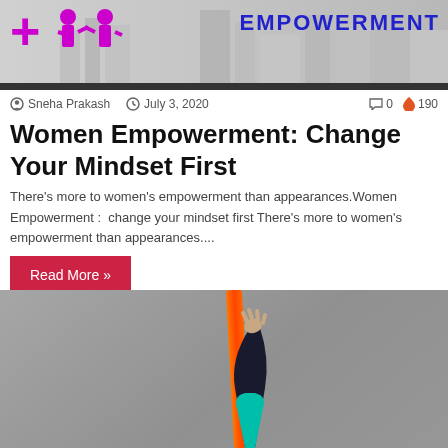[Figure (photo): Website header banner with logo (cross and female figures) and 'EMPOWERMENT' text in blue on grey city silhouette background]
Sneha Prakash  July 3, 2020   0  190
Women Empowerment: Change Your Mindset First
There's more to women's empowerment than appearances.Women Empowerment :  change your mindset first There's more to women's empowerment than appearances....
Read More »
[Figure (photo): Photo of a person's arm and foot holding/wrapped in an orange aerial silk ribbon against a grey concrete wall background, with a teal sleeve visible]